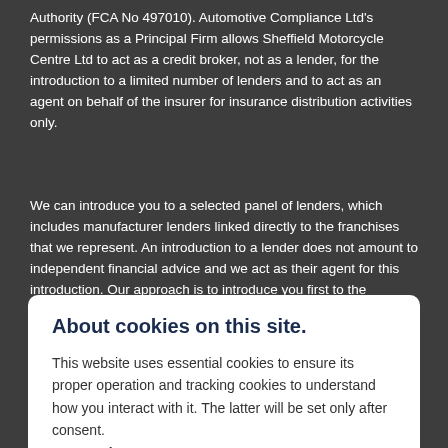Authority (FCA No 497010). Automotive Compliance Ltd's permissions as a Principal Firm allows Sheffield Motorcycle Centre Ltd to act as a credit broker, not as a lender, for the introduction to a limited number of lenders and to act as an agent on behalf of the insurer for insurance distribution activities only.
We can introduce you to a selected panel of lenders, which includes manufacturer lenders linked directly to the franchises that we represent. An introduction to a lender does not amount to independent financial advice and we act as their agent for this introduction. Our approach is to introduce you first to the manufacturer
About cookies on this site.
This website uses essential cookies to ensure its proper operation and tracking cookies to understand how you interact with it. The latter will be set only after consent. Let me choose
Accept all
Reject all
subject to status, terms and conditions apply, UK residents only, 18's or over.